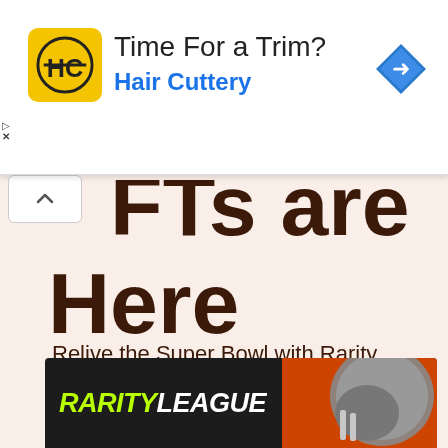[Figure (screenshot): Hair Cuttery advertisement banner with yellow HC logo, headline 'Time For a Trim?', brand name 'Hair Cuttery' in blue, and a blue navigation arrow icon on the right.]
NFTs are Here
Relive the Super Bowl with Rarity League collectibles for the Rams & Bengals!
[Figure (logo): Rarity League logo in neon green graffiti-style text on dark background with football helmet imagery]